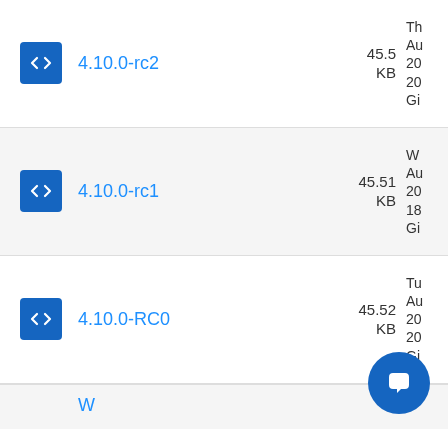4.10.0-rc2, 45.5 KB
4.10.0-rc1, 45.51 KB
4.10.0-RC0, 45.52 KB